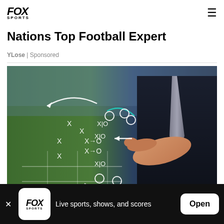FOX SPORTS
Nations Top Football Expert
YLose | Sponsored
[Figure (photo): Man in suit pointing at a football play diagram drawn on a transparent board, with football field visible in background]
Live sports, shows, and scores